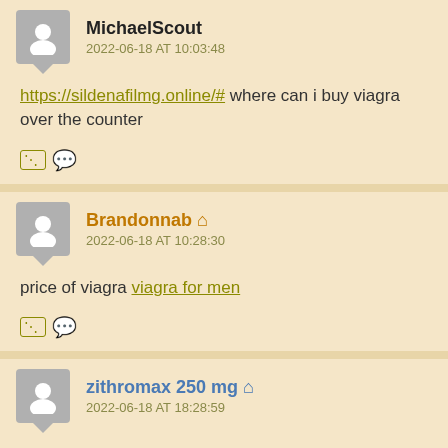MichaelScout
2022-06-18 AT 10:03:48
https://sildenafilmg.online/# where can i buy viagra over the counter
Brandonnab 2022-06-18 AT 10:28:30
price of viagra viagra for men
zithromax 250 mg 2022-06-18 AT 18:28:59